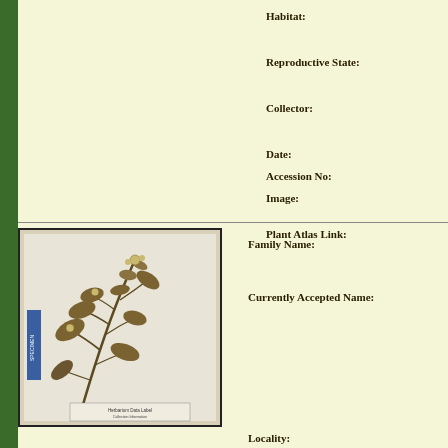Habitat:
Reproductive State:
Collector:
Date:
Accession No:
Image:
Plant Atlas Link:
[Figure (photo): Herbarium specimen sheet showing a dried plant with leaves and small flowers, mounted on white paper with a blue label on the left side and a data label at the bottom.]
Family Name:
Currently Accepted Name:
Locality: